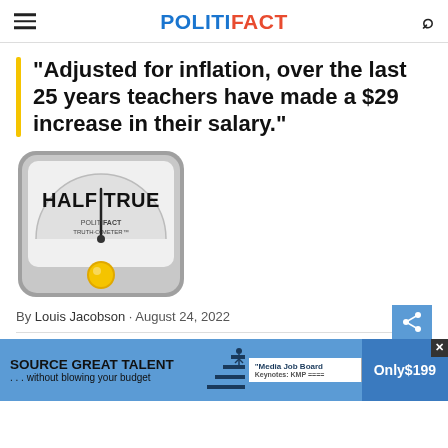POLITIFACT
"Adjusted for inflation, over the last 25 years teachers have made a $29 increase in their salary."
[Figure (illustration): PolitiFact Truth-O-Meter showing HALF TRUE rating with a yellow indicator dial]
By Louis Jacobson · August 24, 2022
Joe Biden
[Figure (other): Advertisement banner: SOURCE GREAT TALENT ...without blowing your budget, Media Job Board, Only $199]